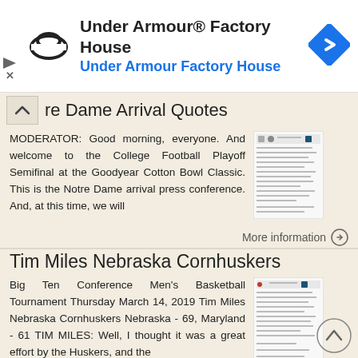[Figure (logo): Under Armour Factory House advertisement banner with Under Armour logo, text 'Under Armour® Factory House' and 'Under Armour Factory House', and a blue navigation/directions diamond icon]
re Dame Arrival Quotes
MODERATOR: Good morning, everyone. And welcome to the College Football Playoff Semifinal at the Goodyear Cotton Bowl Classic. This is the Notre Dame arrival press conference. And, at this time, we will
More information →
Tim Miles Nebraska Cornhuskers
Big Ten Conference Men's Basketball Tournament Thursday March 14, 2019 Tim Miles Nebraska Cornhuskers Nebraska - 69, Maryland - 61 TIM MILES: Well, I thought it was a great effort by the Huskers, and the